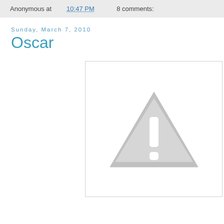Anonymous at 10:47 PM    8 comments:
Sunday, March 7, 2010
Oscar
[Figure (illustration): Broken image placeholder showing a grey warning triangle with exclamation mark on white background]